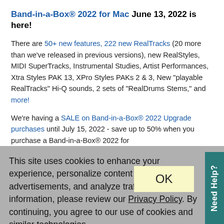Band-in-a-Box® 2022 for Mac June 13, 2022 is here!
There are 50+ new features, 222 new RealTracks (20 more than we've released in previous versions), new RealStyles, MIDI SuperTracks, Instrumental Studies, Artist Performances, Xtra Styles PAK 13, XPro Styles PAKs 2 & 3, New "playable RealTracks" Hi-Q sounds, 2 sets of "RealDrums Stems," and more!
We're having a SALE on Band-in-a-Box® 2022 Upgrade purchases until July 15, 2022 - save up to 50% when you purchase a Band-in-a-Box® 2022 for
This site uses cookies to enhance your experience, personalize content and advertisements, and analyze traffic. For further information, please review our Privacy Policy. By continuing, you agree to our use of cookies and similar technologies.